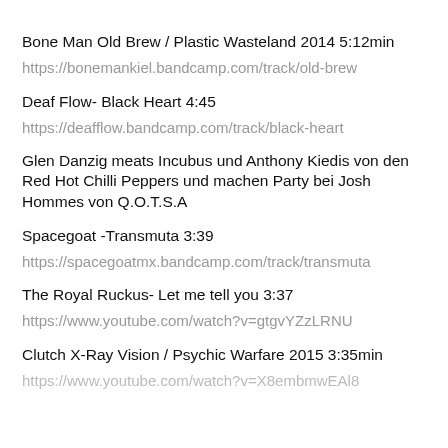Bone Man Old Brew / Plastic Wasteland 2014 5:12min
https://bonemankiel.bandcamp.com/track/old-brew
Deaf Flow- Black Heart 4:45
https://deafflow.bandcamp.com/track/black-heart
Glen Danzig meats Incubus und Anthony Kiedis von den Red Hot Chilli Peppers und machen Party bei Josh Hommes von Q.O.T.S.A
Spacegoat -Transmuta 3:39
https://spacegoatmx.bandcamp.com/track/transmuta
The Royal Ruckus- Let me tell you 3:37
https://www.youtube.com/watch?v=gtgvYZzLRNU
Clutch X-Ray Vision / Psychic Warfare 2015 3:35min
https://www.youtube.com/watch?v=X8embmwEAl8